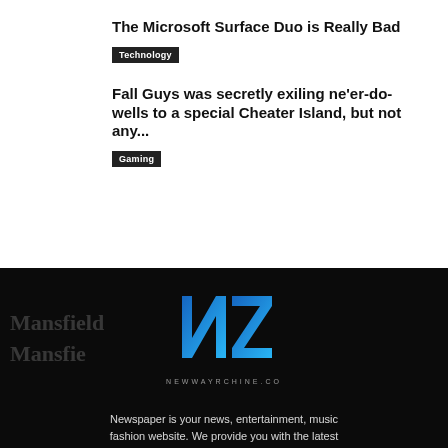The Microsoft Surface Duo is Really Bad
Technology
Fall Guys was secretly exiling ne'er-do-wells to a special Cheater Island, but not any...
Gaming
[Figure (logo): NZ Newspaper logo — large stylized N and Z letters in blue gradient, with text NEWWAYRCHINE.CO below]
Newspaper is your news, entertainment, music fashion website. We provide you with the latest